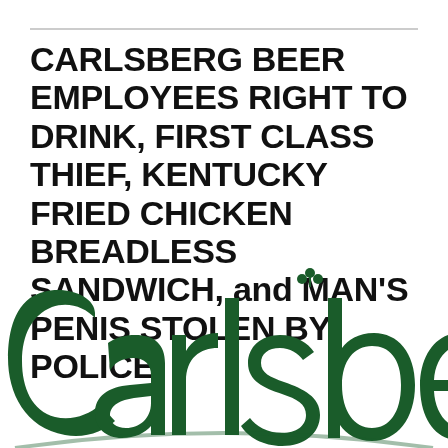CARLSBERG BEER EMPLOYEES RIGHT TO DRINK, FIRST CLASS THIEF, KENTUCKY FRIED CHICKEN BREADLESS SANDWICH, and MAN'S PENIS STOLEN BY POLICE
[Figure (logo): Carlsberg beer brand logo in dark green, showing stylized 'Carlsberg' script text with a hop icon above the 'b', partially cropped at bottom]